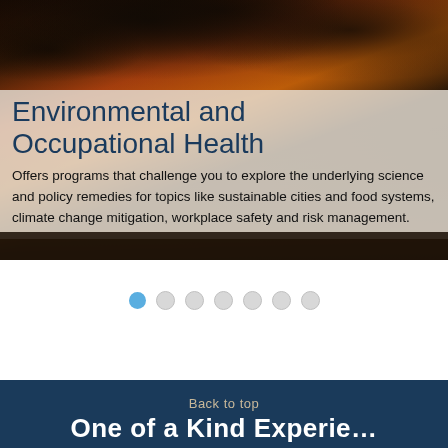[Figure (photo): Dark stormy sky with dramatic orange and red sunset clouds, industrial or environmental scene backdrop for Environmental and Occupational Health section]
Environmental and Occupational Health
Offers programs that challenge you to explore the underlying science and policy remedies for topics like sustainable cities and food systems, climate change mitigation, workplace safety and risk management.
[Figure (other): Carousel navigation dots: 7 dots total, first dot active (blue), remaining 6 inactive (light gray)]
Back to top
One of a Kind Experience